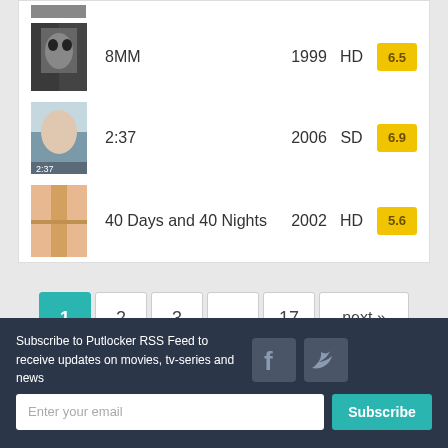8MM | 1999 | HD | 6.5
2:37 | 2006 | SD | 6.9
40 Days and 40 Nights | 2002 | HD | 5.6
1  2  3  ...  17  next »
Subscribe to Putlocker RSS Feed to receive updates on movies, tv-series and news
Enter your email
Subscribe